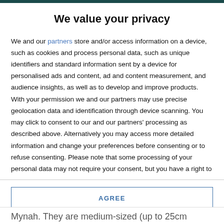We value your privacy
We and our partners store and/or access information on a device, such as cookies and process personal data, such as unique identifiers and standard information sent by a device for personalised ads and content, ad and content measurement, and audience insights, as well as to develop and improve products. With your permission we and our partners may use precise geolocation data and identification through device scanning. You may click to consent to our and our partners' processing as described above. Alternatively you may access more detailed information and change your preferences before consenting or to refuse consenting. Please note that some processing of your personal data may not require your consent, but you have a right to
AGREE
MORE OPTIONS
Mynah. They are medium-sized (up to 25cm